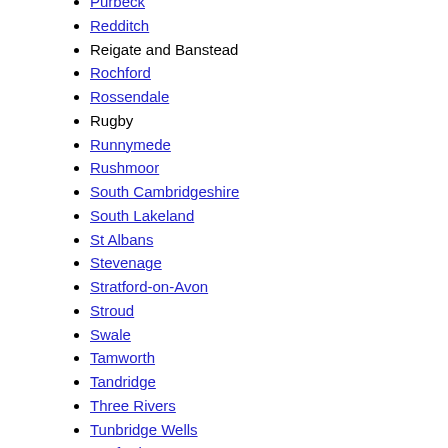Purbeck
Redditch
Reigate and Banstead
Rochford
Rossendale
Rugby
Runnymede
Rushmoor
South Cambridgeshire
South Lakeland
St Albans
Stevenage
Stratford-on-Avon
Stroud
Swale
Tamworth
Tandridge
Three Rivers
Tunbridge Wells
Watford
Waveney
Welwyn Hatfield
West Lancashire
West Lindsey
West Oxfordshire